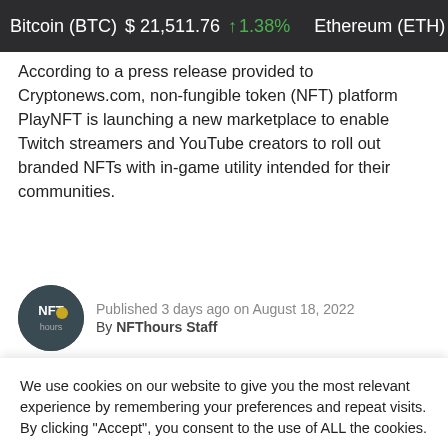Bitcoin (BTC) $21,511.76 ↑1.38%   Ethereum (ETH) $1,610.
According to a press release provided to Cryptonews.com, non-fungible token (NFT) platform PlayNFT is launching a new marketplace to enable Twitch streamers and YouTube creators to roll out branded NFTs with in-game utility intended for their communities.
Published 3 days ago on August 18, 2022
By NFThours Staff
[Figure (photo): Purple background with a dark smartphone silhouette showing a purple screen, cropped at the top of the phone]
We use cookies on our website to give you the most relevant experience by remembering your preferences and repeat visits. By clicking "Accept", you consent to the use of ALL the cookies.
Cookie settings   ACCEPT